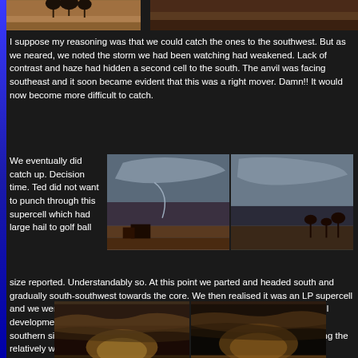[Figure (photo): Top partial image showing arid landscape with trees silhouetted against orange/red sky]
I suppose my reasoning was that we could catch the ones to the southwest. But as we neared, we noted the storm we had been watching had weakened. Lack of contrast and haze had hidden a second cell to the south. The anvil was facing southeast and it soon became evident that this was a right mover. Damn!! It would now become more difficult to catch.
We eventually did catch up. Decision time. Ted did not want to punch through this supercell which had large hail to golf ball size reported. Understandably so. At this point we parted and headed south and gradually south-southwest towards the core. We then realised it was an LP supercell and we were on the wrong side. Unfortunately, the more we headed south, cell development was shifting south-southwest. We were not able to get onto the southern side of the storms. The anvil was extensive, not surprising considering the relatively weaker upper level winds.
[Figure (photo): Two storm chase photos side by side showing supercell thunderstorm with anvil clouds against grey sky, with rural buildings and trees in foreground]
[Figure (photo): Two sunset/twilight photos side by side showing dramatic cloud formations with warm orange and pink tones]